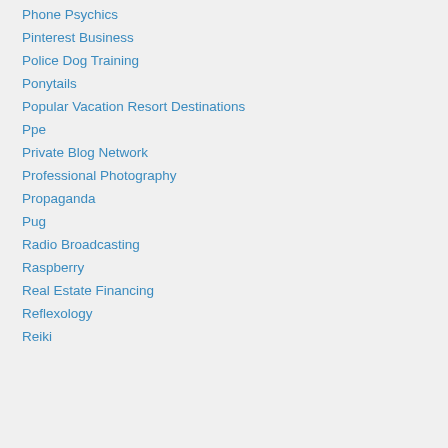Phone Psychics
Pinterest Business
Police Dog Training
Ponytails
Popular Vacation Resort Destinations
Ppe
Private Blog Network
Professional Photography
Propaganda
Pug
Radio Broadcasting
Raspberry
Real Estate Financing
Reflexology
Reiki